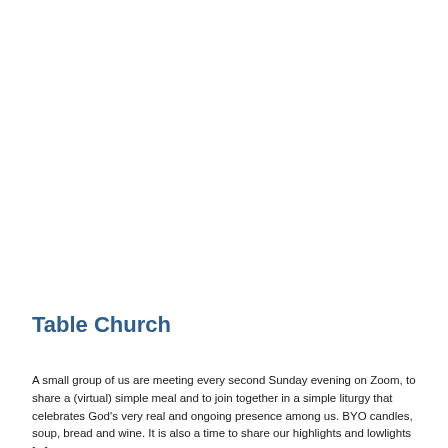Table Church
A small group of us are meeting every second Sunday evening on Zoom, to share a (virtual) simple meal and to join together in a simple liturgy that celebrates God’s very real and ongoing presence among us. BYO candles, soup, bread and wine.  It is also a time to share our highlights and lowlights [...]